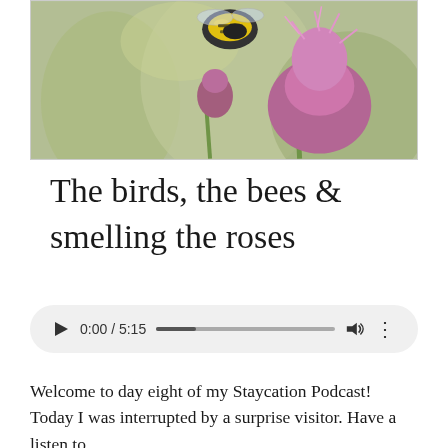[Figure (photo): Close-up photo of a bumblebee on a pink thistle flower with blurred green background]
The birds, the bees & smelling the roses
[Figure (other): Audio player showing 0:00 / 5:15 with play button, progress bar, volume and options icons]
Welcome to day eight of my Staycation Podcast! Today I was interrupted by a surprise visitor. Have a listen to